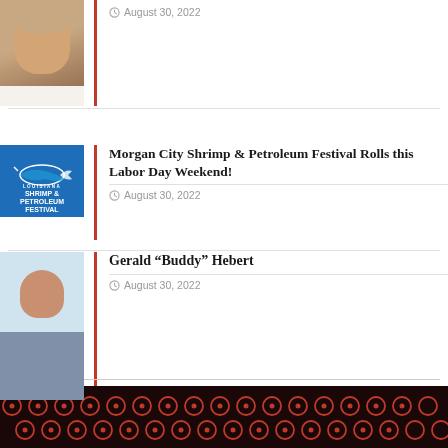[Figure (photo): Partial photo of a smiling older man visible at the top of the page, cropped]
August 30, 2022
[Figure (logo): Louisiana Shrimp & Petroleum Festival logo — blue square with marlin and text]
Morgan City Shrimp & Petroleum Festival Rolls this Labor Day Weekend!
August 30, 2022
[Figure (photo): Portrait photo of Gerald 'Buddy' Hebert, an elderly bald man smiling, wearing a striped shirt]
Gerald “Buddy” Hebert
August 30, 2022
[Figure (photo): Dark banner at bottom with repeated red circle/medallion logos on a dark background]